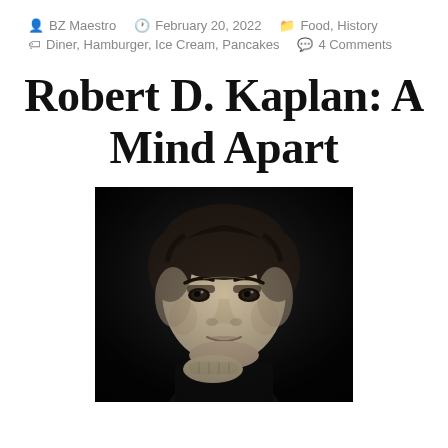BZ Maestro  February 20, 2022  Food, History  Diner, Hamburger, Ice Cream, Pancakes  4 Comments
Robert D. Kaplan: A Mind Apart
[Figure (photo): Black and white portrait photograph of a middle-aged man with dark hair, resting his chin on his hand, looking directly at the camera against a dark background.]